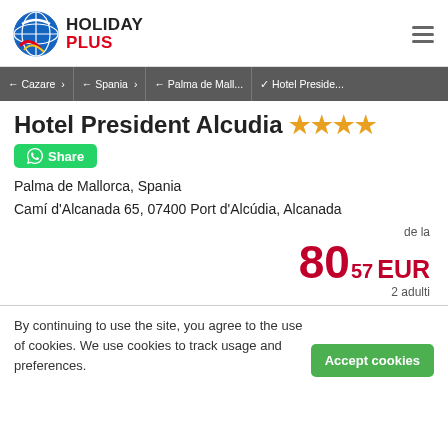[Figure (logo): Holiday Plus travel agency logo with globe icon and red/blue text]
Holiday Plus — navigation header with hamburger menu
← Cazare > ← Spania > ← Palma de Mall... ✓ Hotel Preside...
Hotel President Alcudia ★★★★
Share
Palma de Mallorca, Spania
Camí d'Alcanada 65, 07400 Port d'Alcúdia, Alcanada
de la 8057 EUR 2 adulti
By continuing to use the site, you agree to the use of cookies. We use cookies to track usage and preferences.
Accept cookies